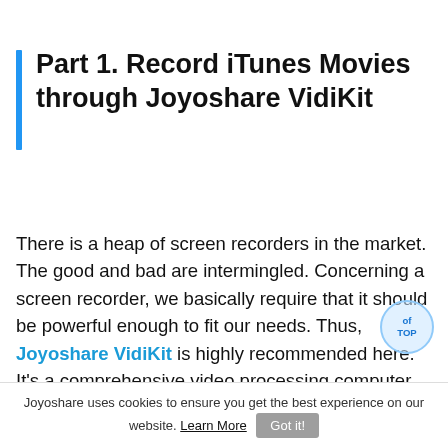Part 1. Record iTunes Movies through Joyoshare VidiKit
There is a heap of screen recorders in the market. The good and bad are intermingled. Concerning a screen recorder, we basically require that it should be powerful enough to fit our needs. Thus, Joyoshare VidiKit is highly recommended here. It's a comprehensive video processing computer program which enables you to screen record iTunes Movies, trim videos without re-encoding, remove or add watermark on videos, edit audio recordings, convert video files to different formats, etc. This means that if you want to edit your iTunes Movies after having finished downloading them, Joyoshare VidiKit will satisfy most of the subsequent needs within one program. How to reach the
Joyoshare uses cookies to ensure you get the best experience on our website. Learn More  Got it!